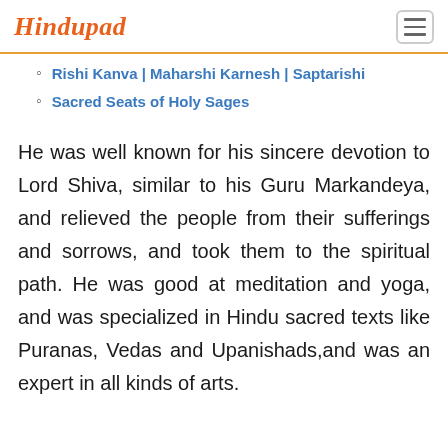Hindupad
Rishi Kanva | Maharshi Karnesh | Saptarishi
Sacred Seats of Holy Sages
He was well known for his sincere devotion to Lord Shiva, similar to his Guru Markandeya, and relieved the people from their sufferings and sorrows, and took them to the spiritual path. He was good at meditation and yoga, and was specialized in Hindu sacred texts like Puranas, Vedas and Upanishads,and was an expert in all kinds of arts.